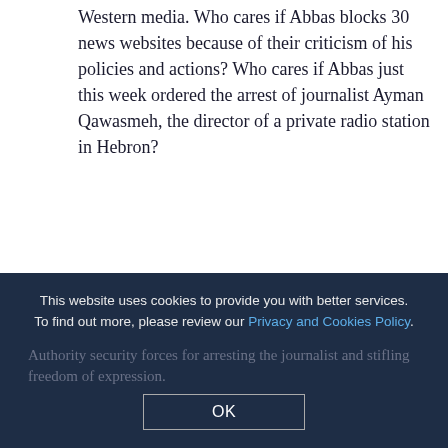Western media. Who cares if Abbas blocks 30 news websites because of their criticism of his policies and actions? Who cares if Abbas just this week ordered the arrest of journalist Ayman Qawasmeh, the director of a private radio station in Hebron?
Qawasmeh was arrested shortly after he criticized Abbas and called on him and his prime minister, Rami Hamdallah, to resign. Western journalists covering the Israeli-Palestinian conflict dismiss these stories only, it seems, because they lack an anti-Israel angle.
As if the arrest of Qawasmeh were not enough, Abbas's security forces later arrested Issa Amro, a Palestinian activist from Hebron, for speaking out against the arrest of the journalist. Amro criticized the Palestinian Authority security forces for arresting the journalist and stifling freedom of expression.
This website uses cookies to provide you with better services. To find out more, please review our Privacy and Cookies Policy.